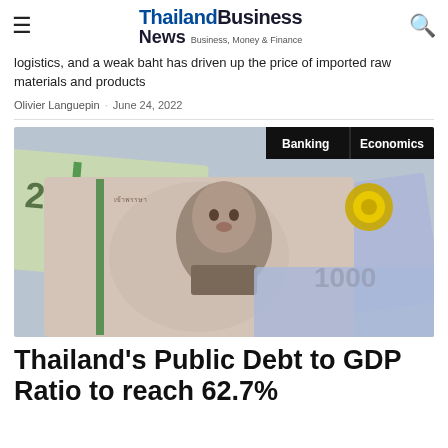ThailandBusiness News - Business, Money & Finance
logistics, and a weak baht has driven up the price of imported raw materials and products
Olivier Languepin · June 24, 2022
[Figure (photo): Close-up photograph of Thai baht banknotes including 20 baht and 1000 baht notes, with a portrait of a Thai figure on the 1000 baht note]
Thailand's Public Debt to GDP Ratio to reach 62.7%